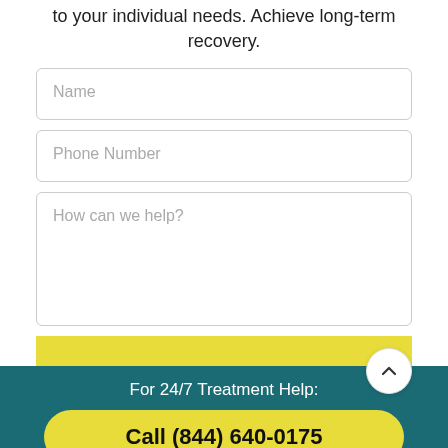to your individual needs. Achieve long-term recovery.
Name
Phone Number
How can we help?
For 24/7 Treatment Help:
Call (844) 640-0175